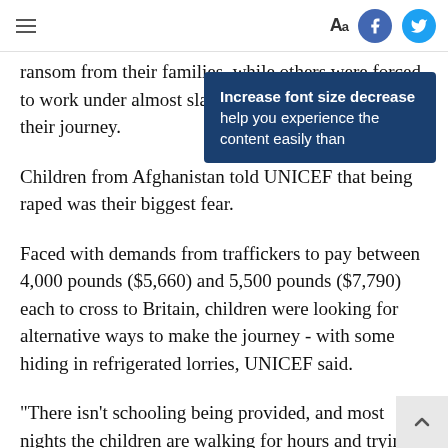≡   Aa  [Facebook] [Twitter]
ransom from their families, while others were forced to work under almost slave-like conditions during their journey.
[Figure (screenshot): Tooltip popup overlay: 'Increase font size decrease help you experience the content easily than']
Children from Afghanistan told UNICEF that being raped was their biggest fear.
Faced with demands from traffickers to pay between 4,000 pounds ($5,660) and 5,500 pounds ($7,790) each to cross to Britain, children were looking for alternative ways to make the journey - with some hiding in refrigerated lorries, UNICEF said.
"There isn't schooling being provided, and most nights the children are walking for hours and trying to jump into lorries," Teff said.